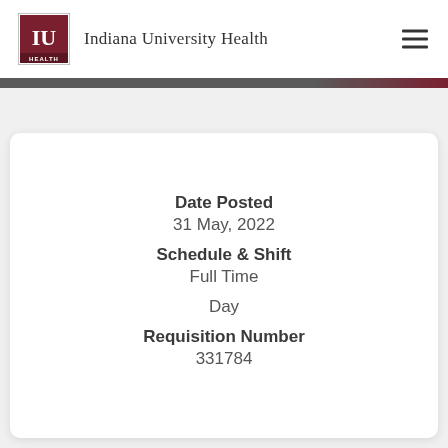Indiana University Health
Date Posted
31 May, 2022
Schedule & Shift
Full Time
Day
Requisition Number
331784